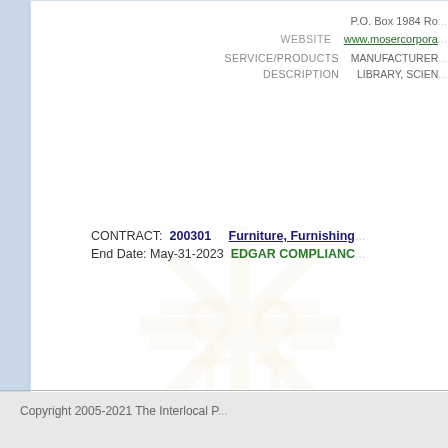P.O. Box 1984 Ro...
WEBSITE  www.mosercorpora...
SERVICE/PRODUCTS DESCRIPTION  MANUFACTURER... LIBRARY, SCIEN...
CONTRACT: 200301  Furniture, Furnishing...  End Date: May-31-2023 EDGAR COMPLIANC...
Copyright 2005-2021 The Interlocal P...